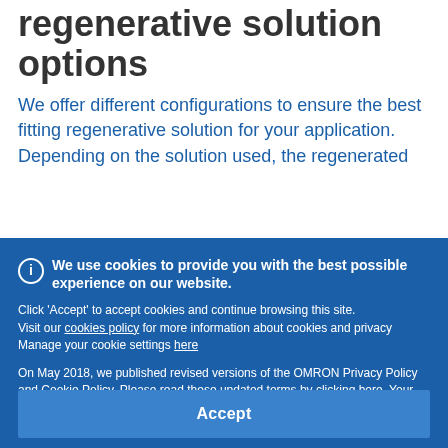regenerative solution options
We offer different configurations to ensure the best fitting regenerative solution for your application. Depending on the solution used, the regenerated
We use cookies to provide you with the best possible experience on our website.

Click 'Accept' to accept cookies and continue browsing this site.
Visit our cookies policy for more information about cookies and privacy
Manage your cookie settings here

On May 2018, we published revised versions of the OMRON Privacy Policy and Cookie Policy. Please read these updated terms by clicking here. Your use of our products and services is subject to these revised terms
Accept